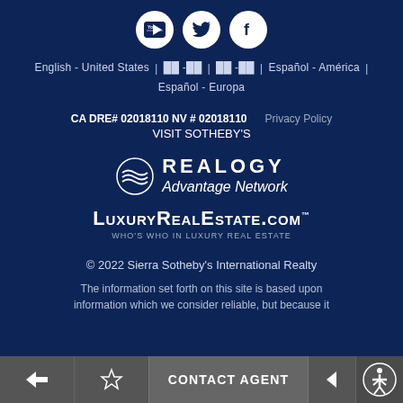[Figure (other): Three social media icons (YouTube, Twitter, Facebook) as white circles on dark navy background]
English - United States  |  ██-██  |  ██-██  |  Español - América  |  Español - Europa
CA DRE# 02018110 NV # 02018110   Privacy Policy
VISIT SOTHEBY'S
[Figure (logo): Realogy Advantage Network logo - white compass/wave icon with REALOGY text in caps and Advantage Network in italic below]
[Figure (logo): LuxuryRealEstate.com logo - large white small-caps text with tagline WHO'S WHO IN LUXURY REAL ESTATE]
© 2022 Sierra Sotheby's International Realty
The information set forth on this site is based upon information which we consider reliable, but because it
← ☆ CONTACT AGENT ◄